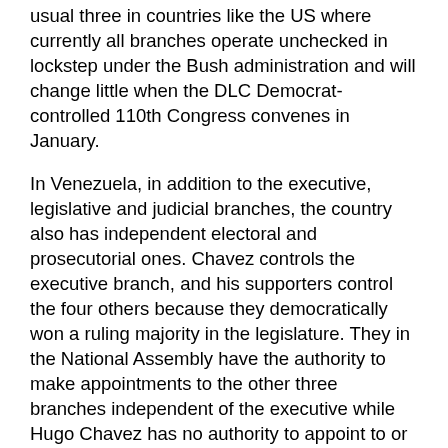usual three in countries like the US where currently all branches operate unchecked in lockstep under the Bush administration and will change little when the DLC Democrat-controlled 110th Congress convenes in January.
In Venezuela, in addition to the executive, legislative and judicial branches, the country also has independent electoral and prosecutorial ones. Chavez controls the executive branch, and his supporters control the four others because they democratically won a ruling majority in the legislature. They in the National Assembly have the authority to make appointments to the other three branches independent of the executive while Hugo Chavez has no authority to appoint to or remove members from the other four branches or have any power to dictate what they do. Today in the US, George Bush has a virtual stranglehold over all three government branches that mostly rubber stamp his agenda without opposition including the most outrageous